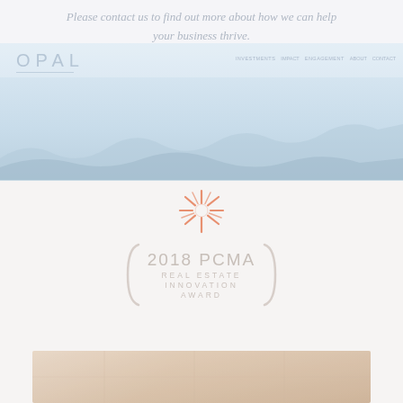Please contact us to find out more about how we can help your business thrive.
[Figure (screenshot): Screenshot of the Opal company website showing logo and navigation bar with a scenic landscape hero image]
[Figure (logo): 2018 PCMA Real Estate Innovation Award logo with decorative bracket and sunburst icon]
[Figure (photo): Partial view of a photo strip at the bottom of the page showing a warm-toned interior or landscape scene]